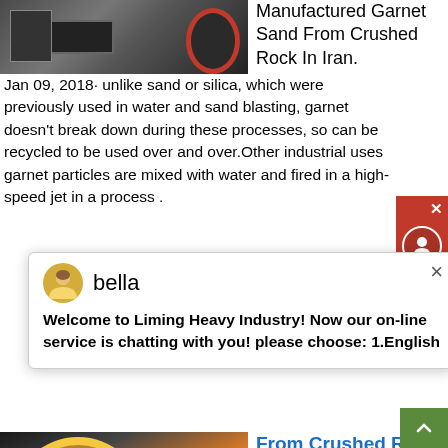[Figure (photo): Industrial machinery photo at top of page]
Manufactured Garnet Sand From Crushed Rock In Iran. Jan 09, 2018· unlike sand or silica, which were previously used in water and sand blasting, garnet doesn't break down during these processes, so can be recycled to be used over and over.Other industrial uses garnet particles are mixed with water and fired in a high-speed jet in a process .
[Figure (screenshot): Live chat popup from Liming Heavy Industry with avatar named bella. Message: Welcome to Liming Heavy Industry! Now our on-line service is chatting with you! please choose: 1.English]
[Figure (photo): Industrial rock crusher/processing machine, orange and black, outdoors]
From Crushed Rock
processing of manufactured garnet sand from crushed rock processing of manufactured garnet sand from crushed rock How diamond is made material history used processing parts it is found in a type of igneous rock known as kimberlite 9 Step